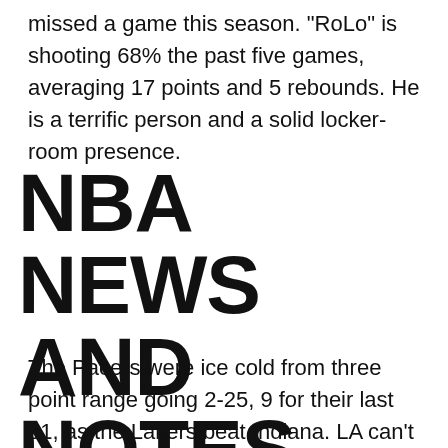missed a game this season. "RoLo" is shooting 68% the past five games, averaging 17 points and 5 rebounds. He is a terrific person and a solid locker-room presence.
NBA NEWS AND NOTES
The Pacers were ice cold from three point range going 2-25, 9 for their last 51, as the Lakers beat Indiana. LA can't shoot free throws: 8-14 from the line.